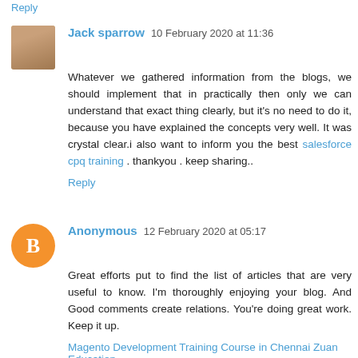Reply
Jack sparrow  10 February 2020 at 11:36
Whatever we gathered information from the blogs, we should implement that in practically then only we can understand that exact thing clearly, but it's no need to do it, because you have explained the concepts very well. It was crystal clear.i also want to inform you the best salesforce cpq training . thankyou . keep sharing..
Reply
Anonymous  12 February 2020 at 05:17
Great efforts put to find the list of articles that are very useful to know. I'm thoroughly enjoying your blog. And Good comments create relations. You're doing great work. Keep it up.
Magento Development Training Course in Chennai Zuan Education